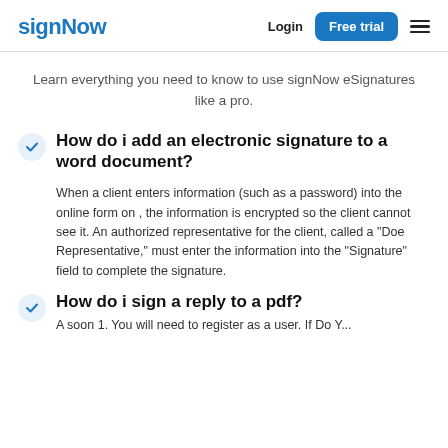signNow | Login | Free trial
Learn everything you need to know to use signNow eSignatures like a pro.
How do i add an electronic signature to a word document?
When a client enters information (such as a password) into the online form on , the information is encrypted so the client cannot see it. An authorized representative for the client, called a "Doe Representative," must enter the information into the "Signature" field to complete the signature.
How do i sign a reply to a pdf?